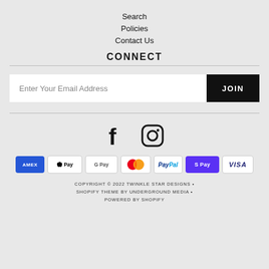Search
Policies
Contact Us
CONNECT
Enter Your Email Address
JOIN
[Figure (illustration): Facebook and Instagram social media icons]
[Figure (illustration): Payment icons: AMEX, Apple Pay, Google Pay, Mastercard, PayPal, Shop Pay, Visa]
COPYRIGHT © 2022 TWINKLE STAR DESIGNS • SHOPIFY THEME BY UNDERGROUND MEDIA • POWERED BY SHOPIFY